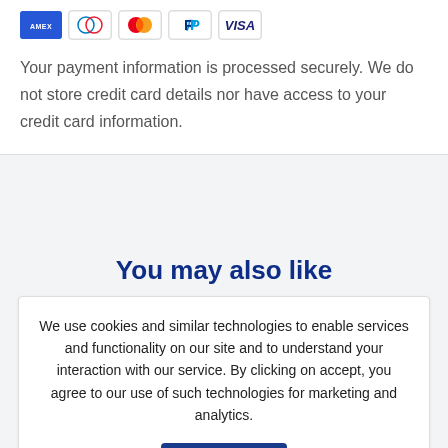[Figure (other): Payment method icons: American Express, Diners Club, Mastercard, PayPal, Visa]
Your payment information is processed securely. We do not store credit card details nor have access to your credit card information.
You may also like
We use cookies and similar technologies to enable services and functionality on our site and to understand your interaction with our service. By clicking on accept, you agree to our use of such technologies for marketing and analytics.
Accept